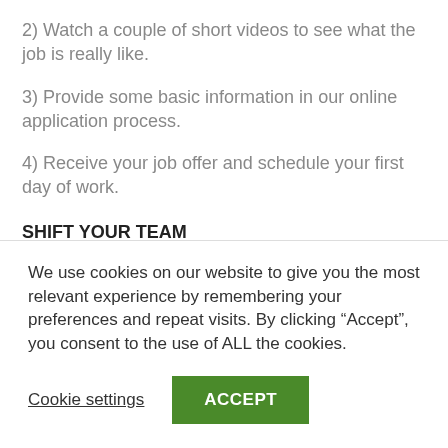2) Watch a couple of short videos to see what the job is really like.
3) Provide some basic information in our online application process.
4) Receive your job offer and schedule your first day of work.
SHIFT YOUR TEAM
Who exactly are UPS Warehouse Workers? Also
We use cookies on our website to give you the most relevant experience by remembering your preferences and repeat visits. By clicking “Accept”, you consent to the use of ALL the cookies.
Cookie settings
ACCEPT